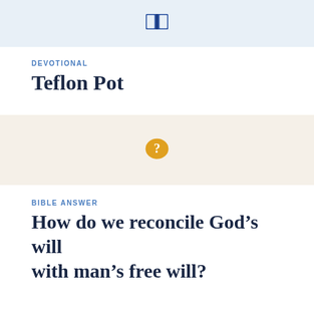[Figure (illustration): Light blue banner with a dark blue open book icon centered within it]
DEVOTIONAL
Teflon Pot
[Figure (illustration): Beige/cream banner with a golden/yellow speech bubble containing a question mark icon centered within it]
BIBLE ANSWER
How do we reconcile God’s will with man’s free will?